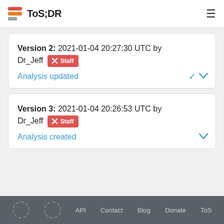ToS;DR
Version 2: 2021-01-04 20:27:30 UTC by Dr_Jeff [Staff]
Analysis updated
Version 3: 2021-01-04 20:26:53 UTC by Dr_Jeff [Staff]
Analysis created
API  Contact  Blog  Donate  ToS